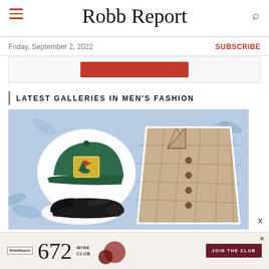Robb Report
Friday, September 2, 2022
SUBSCRIBE
[Figure (other): Advertisement banner with red button]
LATEST GALLERIES IN MEN'S FASHION
[Figure (photo): Gallery image showing a green corduroy baseball cap with golf logo patch, a plaid/houndstooth beige jacket, and black crocodile loafers on a blue floral background]
[Figure (other): Bottom advertisement for RobbReport 672 Wine Club with JOIN THE CLUB button and wine glass imagery]